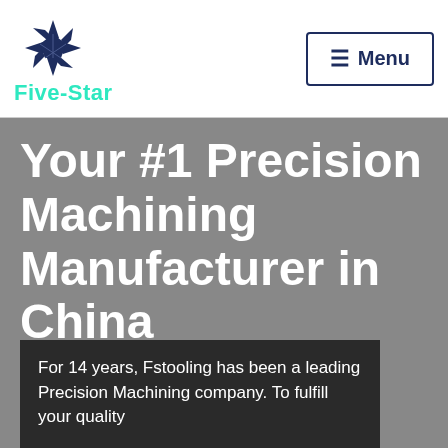[Figure (logo): Five-Star company logo: dark navy blue star/snowflake geometric icon above the text 'Five-Star' in teal/cyan color]
≡ Menu
Your #1 Precision Machining Manufacturer in China
For 14 years, Fstooling has been a leading Precision Machining company. To fulfill your quality